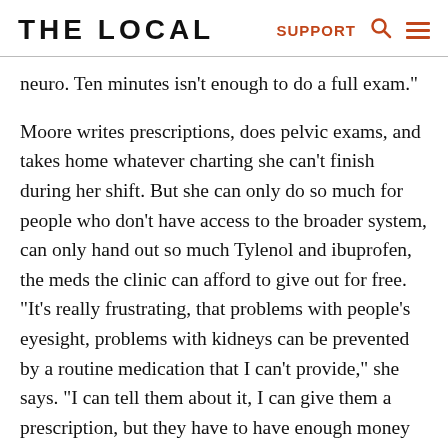THE LOCAL  SUPPORT
neuro. Ten minutes isn’t enough to do a full exam.”
Moore writes prescriptions, does pelvic exams, and takes home whatever charting she can’t finish during her shift. But she can only do so much for people who don’t have access to the broader system, can only hand out so much Tylenol and ibuprofen, the meds the clinic can afford to give out for free. “It’s really frustrating, that problems with people’s eyesight, problems with kidneys can be prevented by a routine medication that I can’t provide,” she says. “I can tell them about it, I can give them a prescription, but they have to have enough money to get it for every